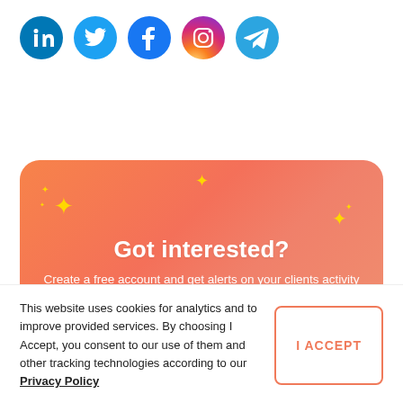[Figure (logo): Row of five social media icons: LinkedIn (blue), Twitter (blue), Facebook (blue), Instagram (gradient pink/purple), Telegram (blue)]
[Figure (infographic): Orange gradient banner with sparkle star emoji decorations, bold white heading 'Got interested?', subtitle 'Create a free account and get alerts on your clients activity', and a love-eyes emoji in the bottom right corner]
This website uses cookies for analytics and to improve provided services. By choosing I Accept, you consent to our use of them and other tracking technologies according to our Privacy Policy